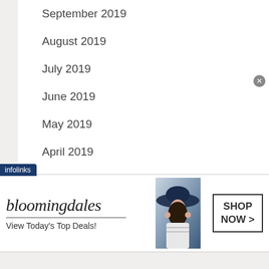September 2019
August 2019
July 2019
June 2019
May 2019
April 2019
March 2019
February 2019
January 2019
[Figure (infographic): Bloomingdale's advertisement banner with logo, tagline 'View Today's Top Deals!', a woman wearing a wide-brim hat, and a 'SHOP NOW >' button. Infolinks branding tab visible.]